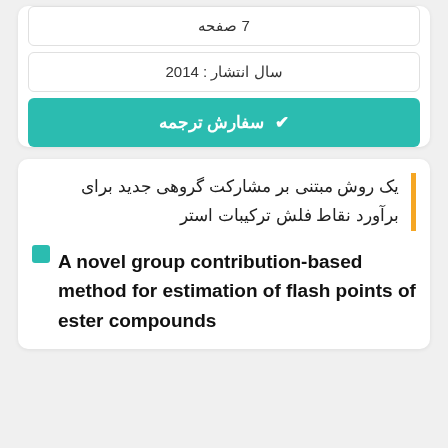7 صفحه
سال انتشار : 2014
✔ سفارش ترجمه
یک روش مبتنی بر مشارکت گروهی جدید برای برآورد نقاط فلش ترکیبات استر
A novel group contribution-based method for estimation of flash points of ester compounds